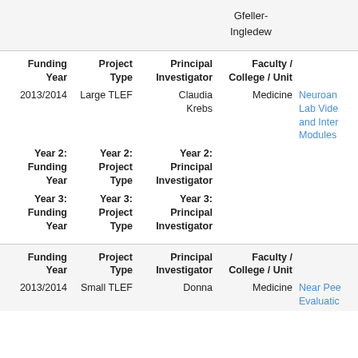Gfeller-
Ingledew
| Funding Year | Project Type | Principal Investigator | Faculty / College / Unit |  |
| --- | --- | --- | --- | --- |
| 2013/2014 | Large TLEF | Claudia Krebs | Medicine | Neuroan Lab Vide and Inter Modules |
| Year 2: Funding Year | Year 2: Project Type | Year 2: Principal Investigator |  |  |
| Year 3: Funding Year | Year 3: Project Type | Year 3: Principal Investigator |  |  |
| Funding Year | Project Type | Principal Investigator | Faculty / College / Unit |  |
| --- | --- | --- | --- | --- |
| 2013/2014 | Small TLEF | Donna | Medicine | Near Pee Evaluatic |